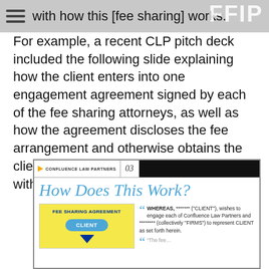with how this [fee sharing] works.
For example, a recent CLP pitch deck included the following slide explaining how the client enters into one engagement agreement signed by each of the fee sharing attorneys, as well as how the agreement discloses the fee arrangement and otherwise obtains the client's informed consent in compliance with applicable ethical rules.
[Figure (screenshot): Confluence Law Partners pitch deck slide titled 'How Does This Work?' showing a Fee Sharing Agreement diagram with a CLIENT button and a yellow box, alongside two quote excerpts about the engagement agreement terms including 'WHEREAS, ******* ("CLIENT"), wishes to engage each of Confluence Law Partners and ******** (collectively "FIRMS") to represent CLIENT as set forth herein.']